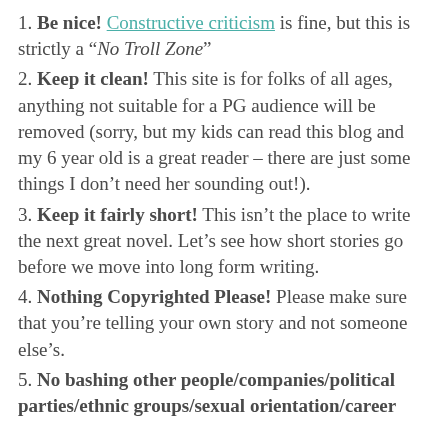1. Be nice! Constructive criticism is fine, but this is strictly a "No Troll Zone"
2. Keep it clean! This site is for folks of all ages, anything not suitable for a PG audience will be removed (sorry, but my kids can read this blog and my 6 year old is a great reader – there are just some things I don't need her sounding out!).
3. Keep it fairly short! This isn't the place to write the next great novel. Let's see how short stories go before we move into long form writing.
4. Nothing Copyrighted Please! Please make sure that you're telling your own story and not someone else's.
5. No bashing other people/companies/political parties/ethnic groups/sexual orientation/career